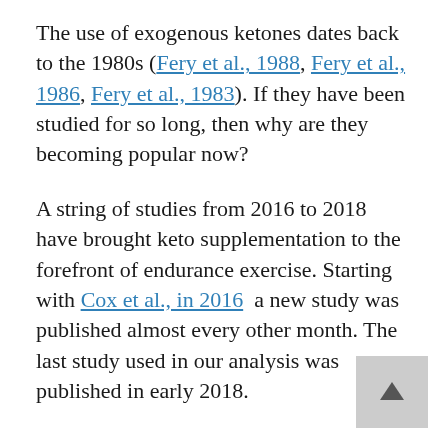The use of exogenous ketones dates back to the 1980s (Fery et al., 1988, Fery et al., 1986, Fery et al., 1983). If they have been studied for so long, then why are they becoming popular now?
A string of studies from 2016 to 2018 have brought keto supplementation to the forefront of endurance exercise. Starting with Cox et al., in 2016 a new study was published almost every other month. The last study used in our analysis was published in early 2018.